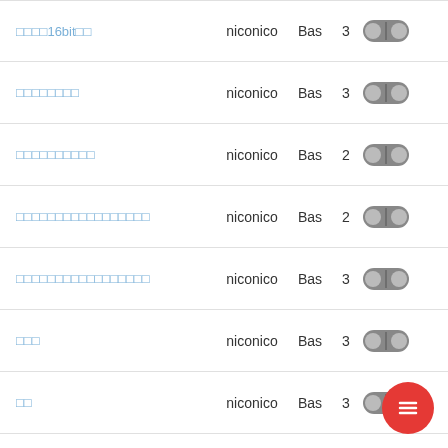□□□□16bit□□  niconico  Bas  3
□□□□□□□□  niconico  Bas  3
□□□□□□□□□□  niconico  Bas  2
□□□□□□□□□□□□□□□□□  niconico  Bas  2
□□□□□□□□□□□□□□□□□  niconico  Bas  3
□□□  niconico  Bas  3
□□  niconico  Bas  3